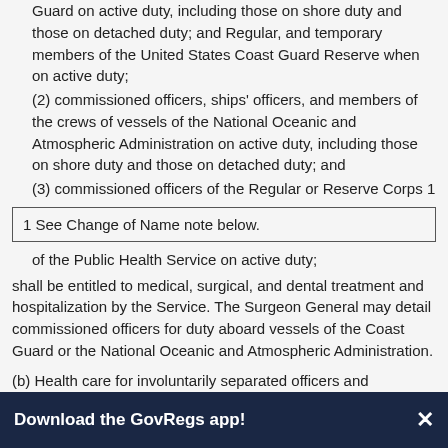Guard on active duty, including those on shore duty and those on detached duty; and Regular, and temporary members of the United States Coast Guard Reserve when on active duty;
(2) commissioned officers, ships' officers, and members of the crews of vessels of the National Oceanic and Atmospheric Administration on active duty, including those on shore duty and those on detached duty; and
(3) commissioned officers of the Regular or Reserve Corps 1
1 See Change of Name note below.
of the Public Health Service on active duty;
shall be entitled to medical, surgical, and dental treatment and hospitalization by the Service. The Surgeon General may detail commissioned officers for duty aboard vessels of the Coast Guard or the National Oceanic and Atmospheric Administration.
(b) Health care for involuntarily separated officers and dependents
(1) The Secretary may provide health care for an officer of the
Download the GovRegs app!